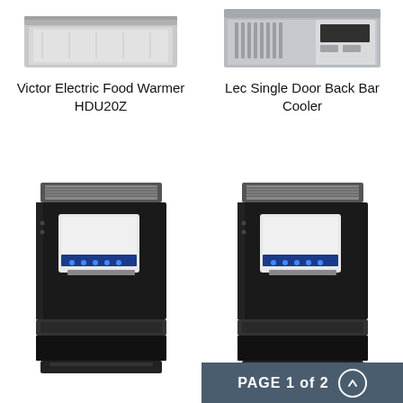[Figure (photo): Top portion of Victor Electric Food Warmer HDU20Z product image, showing the top part of the appliance]
[Figure (photo): Top portion of Lec Single Door Back Bar Cooler product image, showing the top part of the appliance]
Victor Electric Food Warmer HDU20Z
Lec Single Door Back Bar Cooler
[Figure (photo): Full product image of a black commercial speed oven/microwave combo unit with digital display panel]
[Figure (photo): Full product image of a black commercial speed oven/microwave combo unit with digital display panel (second unit)]
PAGE 1 of 2